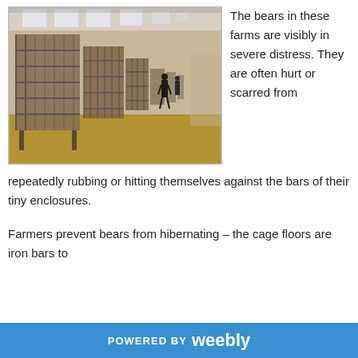[Figure (photo): Interior of a bear bile farm showing rows of small metal cages in a long warehouse-like building, with a person standing in the background near the far end.]
The bears in these farms are visibly in severe distress. They are often hurt or scarred from repeatedly rubbing or hitting themselves against the bars of their tiny enclosures.
Farmers prevent bears from hibernating – the cage floors are iron bars to
POWERED BY weebly